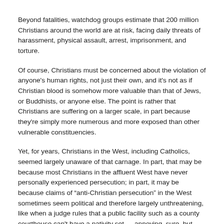Beyond fatalities, watchdog groups estimate that 200 million Christians around the world are at risk, facing daily threats of harassment, physical assault, arrest, imprisonment, and torture.
Of course, Christians must be concerned about the violation of anyone's human rights, not just their own, and it's not as if Christian blood is somehow more valuable than that of Jews, or Buddhists, or anyone else. The point is rather that Christians are suffering on a larger scale, in part because they're simply more numerous and more exposed than other vulnerable constituencies.
Yet, for years, Christians in the West, including Catholics, seemed largely unaware of that carnage. In part, that may be because most Christians in the affluent West have never personally experienced persecution; in part, it may be because claims of “anti-Christian persecution” in the West sometimes seem political and therefore largely unthreatening, like when a judge rules that a public facility such as a county courthouse can't have a nativity set — annoying, sure, but hardly life or death.
In such a context, it can be challenging for Westerners to grasp that other Christians literally take their lives in their hands every time they go to church or, for that matter, just walk the street. Whatever the explanation, I can report that when I published my